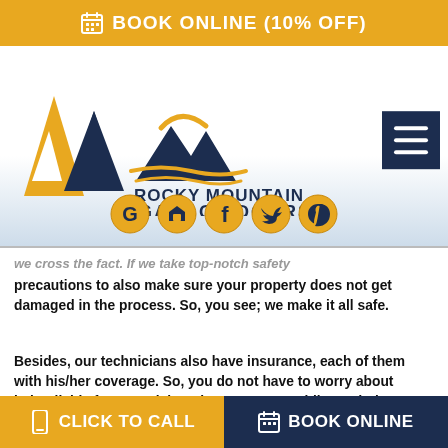BOOK ONLINE (10% OFF)
[Figure (logo): Rocky Mountain Garage Doors logo with mountain graphic and R letter mark in gold and navy]
[Figure (infographic): Row of five social media icon circles: Google, HomeAdvisor, Facebook, Twitter, Pinterest]
precautions to also make sure your property does not get damaged in the process. So, you see; we make it all safe.
Besides, our technicians also have insurance, each of them with his/her coverage. So, you do not have to worry about being liable for any mishap that can occur while rendering you our services. Not that there
CLICK TO CALL   BOOK ONLINE